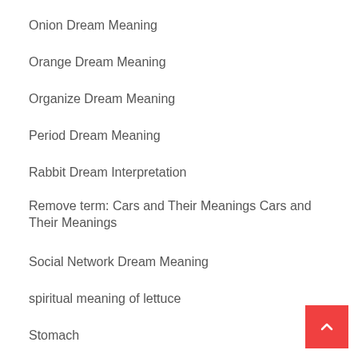Onion Dream Meaning
Orange Dream Meaning
Organize Dream Meaning
Period Dream Meaning
Rabbit Dream Interpretation
Remove term: Cars and Their Meanings Cars and Their Meanings
Social Network Dream Meaning
spiritual meaning of lettuce
Stomach